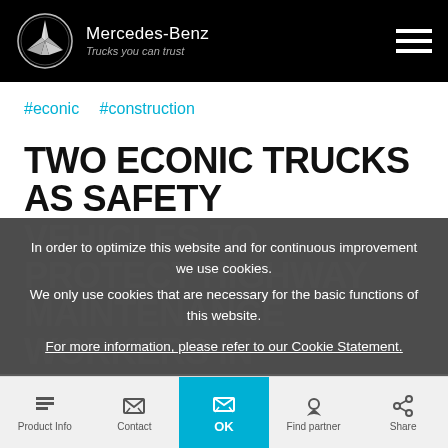Mercedes-Benz – Trucks you can trust
#econic   #construction
TWO ECONIC TRUCKS AS SAFETY VEHICLES TO PROTECT HIGHWAY MAINTENANCE WORKERS IN CARDIFF.
In order to optimize this website and for continuous improvement we use cookies.
We only use cookies that are necessary for the basic functions of this website.
For more information, please refer to our Cookie Statement.
Product Info   Contact   Newsletter   Find partner   Share